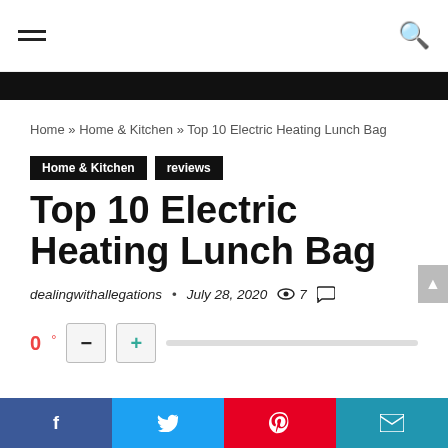Navigation bar with hamburger menu and search icon
Home » Home & Kitchen » Top 10 Electric Heating Lunch Bag
Home & Kitchen   reviews
Top 10 Electric Heating Lunch Bag
dealingwithallegations · July 28, 2020 · 7 views
0°  −  +
Social share buttons: Facebook, Twitter, Pinterest, Email